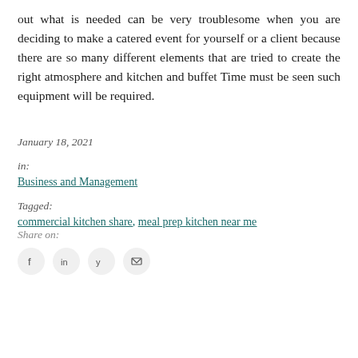out what is needed can be very troublesome when you are deciding to make a catered event for yourself or a client because there are so many different elements that are tried to create the right atmosphere and kitchen and buffet Time must be seen such equipment will be required.
January 18, 2021
in:
Business and Management
Tagged:
commercial kitchen share, meal prep kitchen near me
Share on: